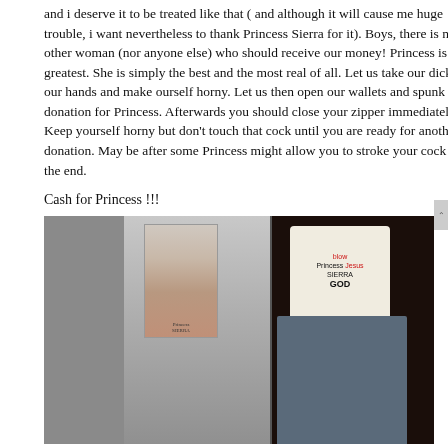and i deserve it to be treated like that ( and although it will cause me huge trouble, i want nevertheless to thank Princess Sierra for it). Boys, there is no other woman (nor anyone else) who should receive our money! Princess is the greatest. She is simply the best and the most real of all. Let us take our dick in our hands and make ourself horny. Let us then open our wallets and spunk a fat donation for Princess. Afterwards you should close your zipper immediately. Keep yourself horny but don't touch that cock until you are ready for another donation. May be after some Princess might allow you to stroke your cock till the end.
Cash for Princess !!!
[Figure (photo): Two photos side by side: left shows a grey couch with a printed photo of Princess Sierra pinned to it; right shows a person wearing glasses and a paper hat with handwritten text reading 'blow', 'Princess Jesus', 'SIERRA', 'GOD', sitting with hands clasped.]